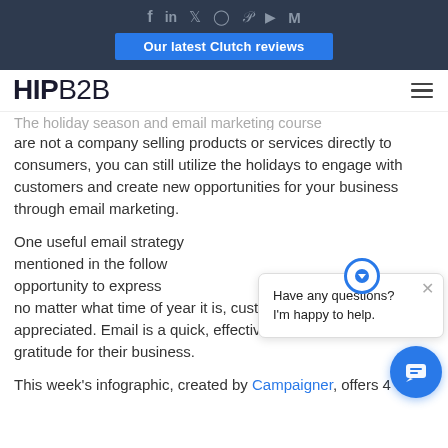Social icons: f in Twitter Instagram Pinterest YouTube M | Our latest Clutch reviews
[Figure (logo): HIPB2B logo with hamburger menu icon]
are not a company selling products or services directly to consumers, you can still utilize the holidays to engage with customers and create new opportunities for your business through email marketing.
One useful email strategy mentioned in the following opportunity to express no matter what time of year it is, customers want to feel appreciated. Email is a quick, effective way to show your gratitude for their business.
This week's infographic, created by Campaigner, offers 4
[Figure (screenshot): Chat widget overlay with message 'Have any questions? I'm happy to help.' and circular chat button]